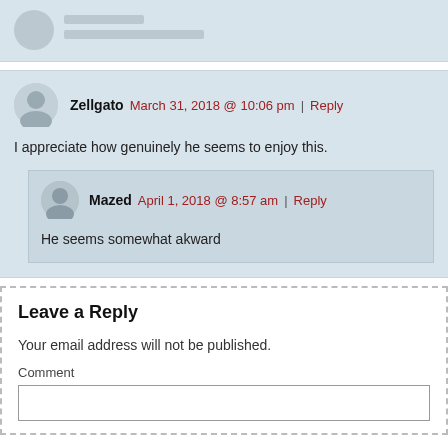[Figure (screenshot): Top of a comment block partially visible, showing avatar stub and lines]
Zellgato   March 31, 2018 @ 10:06 pm | Reply
I appreciate how genuinely he seems to enjoy this.
Mazed   April 1, 2018 @ 8:57 am | Reply
He seems somewhat akward
Leave a Reply
Your email address will not be published.
Comment